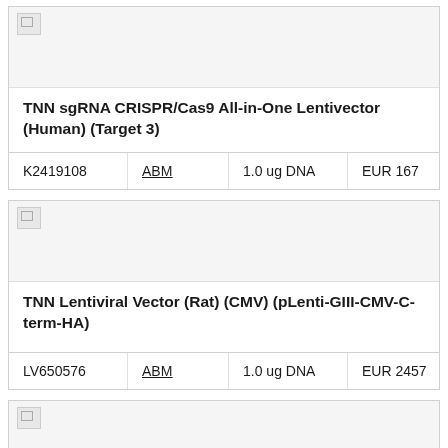| ID | Brand | Quantity | Price |
| --- | --- | --- | --- |
| K2419108 | ABM | 1.0 ug DNA | EUR 167 |
| ID | Brand | Quantity | Price |
| --- | --- | --- | --- |
| LV650576 | ABM | 1.0 ug DNA | EUR 2457 |
[Figure (other): Partial third product card visible at bottom of page, image placeholder shown]